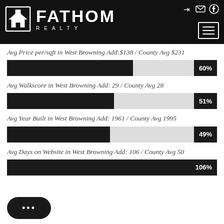[Figure (logo): Fathom Realty logo with house icon on black header background]
Avg Price per/sqft in West Browning Add:$138 / County Avg $231
[Figure (bar-chart): Avg Price per/sqft percentage]
Avg Walkscore in West Browning Add: 29 / County Avg 28
[Figure (bar-chart): Avg Walkscore percentage]
Avg Year Built in West Browning Add: 1961 / County Avg 1995
[Figure (bar-chart): Avg Year Built percentage]
Avg Days on Website in West Browning Add: 106 / County Avg 50
[Figure (bar-chart): Avg Days on Website percentage]